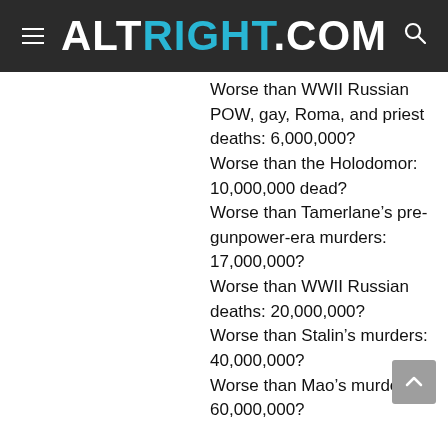ALTRIGHT.COM
Worse than WWII Russian POW, gay, Roma, and priest deaths: 6,000,000?
Worse than the Holodomor: 10,000,000 dead?
Worse than Tamerlane's pre-gunpower-era murders: 17,000,000?
Worse than WWII Russian deaths: 20,000,000?
Worse than Stalin's murders: 40,000,000?
Worse than Mao's murders: 60,000,000?

Stop buying Holocaust hype.